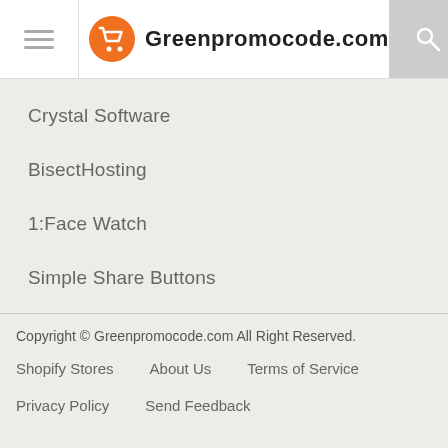Greenpromocode.com
Crystal Software
BisectHosting
1:Face Watch
Simple Share Buttons
Copyright © Greenpromocode.com All Right Reserved.
Shopify Stores   About Us   Terms of Service
Privacy Policy   Send Feedback